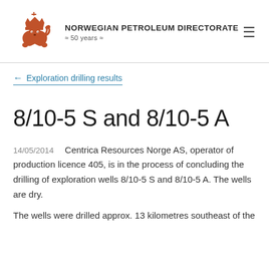[Figure (logo): Norwegian Petroleum Directorate logo with crown and lion emblem in orange/rust color, with text 'NORWEGIAN PETROLEUM DIRECTORATE' and '50 years' below]
← Exploration drilling results
8/10-5 S and 8/10-5 A
14/05/2014  Centrica Resources Norge AS, operator of production licence 405, is in the process of concluding the drilling of exploration wells 8/10-5 S and 8/10-5 A. The wells are dry.
The wells were drilled approx. 13 kilometres southeast of the